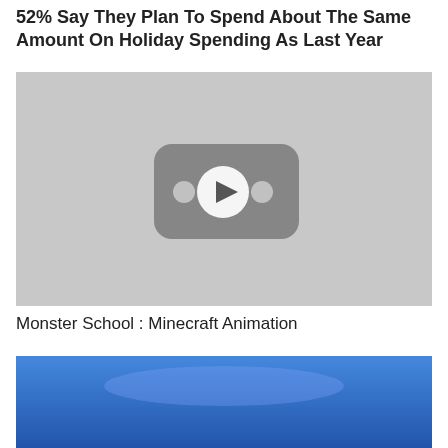52% Say They Plan To Spend About The Same Amount On Holiday Spending As Last Year
[Figure (screenshot): Video thumbnail with gray background and a YouTube-style play button in the center]
Monster School : Minecraft Animation
[Figure (screenshot): Partial blue thumbnail of another video below]